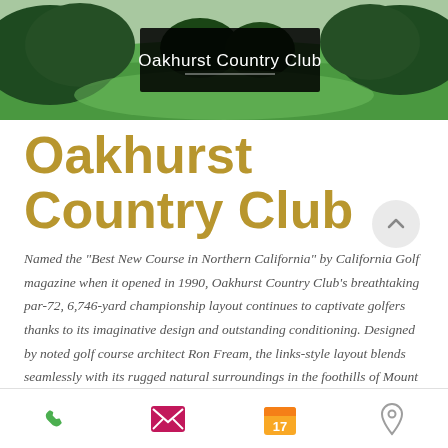[Figure (photo): Golf course banner photo showing green fairway and trees with dark overlay label reading 'Oakhurst Country Club']
Oakhurst Country Club
Named the "Best New Course in Northern California" by California Golf magazine when it opened in 1990, Oakhurst Country Club's breathtaking par-72, 6,746-yard championship layout continues to captivate golfers thanks to its imaginative design and outstanding conditioning. Designed by noted golf course architect Ron Fream, the links-style layout blends seamlessly with its rugged natural surroundings in the foothills of Mount Diablo, with well-guarded greens, numerous